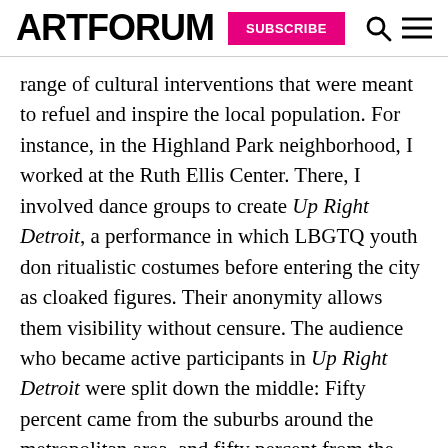ARTFORUM  SUBSCRIBE
range of cultural interventions that were meant to refuel and inspire the local population. For instance, in the Highland Park neighborhood, I worked at the Ruth Ellis Center. There, I involved dance groups to create Up Right Detroit, a performance in which LBGTQ youth don ritualistic costumes before entering the city as cloaked figures. Their anonymity allows them visibility without censure. The audience who became active participants in Up Right Detroit were split down the middle: Fifty percent came from the suburbs around the metropolitan area, and fifty percent from the neighborhood. Many were artists that are living in the city. Creative people have moved into these forbidden areas of city, off the beaten